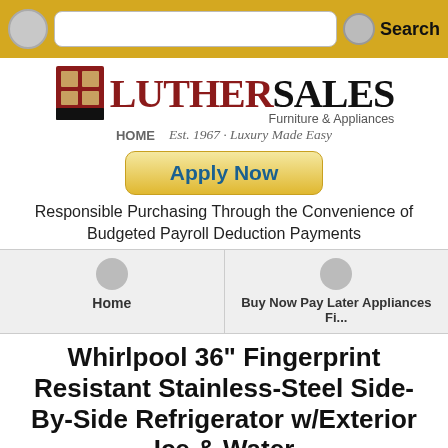[Figure (screenshot): Mobile browser search bar with golden/yellow background, circle button on left, text input field, circle and Search text on right]
[Figure (logo): Luther Sales Furniture & Appliances logo with red door icon and text. EST. 1967 Luxury Made Easy tagline. HOME link.]
[Figure (other): Apply Now button with yellow gradient background and blue text]
Responsible Purchasing Through the Convenience of Budgeted Payroll Deduction Payments
[Figure (screenshot): Navigation tabs: Home and Buy Now Pay Later Appliances Fi...]
Whirlpool 36" Fingerprint Resistant Stainless-Steel Side-By-Side Refrigerator w/Exterior Ice & Water
Code: APP583F
24.55 Cu. Ft. Side by Side Refrigerator